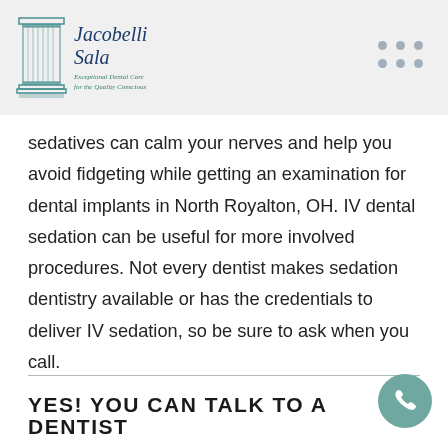[Figure (logo): Jacobelli Sala dental practice logo with teal column icon and script text reading 'Jacobelli Sala - Exceptional Dental Care for the Quality Conscious']
sedatives can calm your nerves and help you avoid fidgeting while getting an examination for dental implants in North Royalton, OH. IV dental sedation can be useful for more involved procedures. Not every dentist makes sedation dentistry available or has the credentials to deliver IV sedation, so be sure to ask when you call.
YES! YOU CAN TALK TO A DENTIST